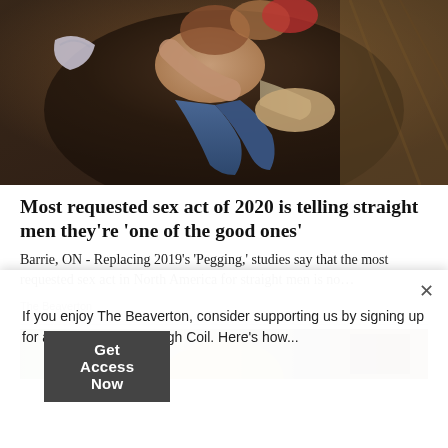[Figure (photo): Overhead photo of two people lying intertwined on a dark surface, one in jeans and one in shorts, with clothing items visible beside them.]
Most requested sex act of 2020 is telling straight men they're 'one of the good ones'
Barrie, ON - Replacing 2019's 'Pegging,' studies say that the most requested sex act in North America for straight men is no…
The Beaverton
[Figure (photo): Partially visible photograph below the article preview, showing a person with blonde hair.]
If you enjoy The Beaverton, consider supporting us by signing up for a Subscription through Coil. Here's how...
Get Access Now